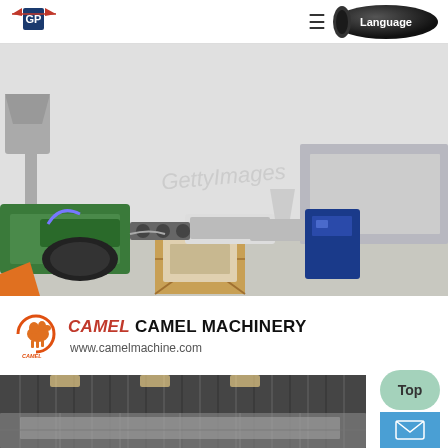GP logo | hamburger menu | Language | pipe image
[Figure (photo): Industrial plastic pipe extrusion production line machinery in a factory setting, showing extruder, calibration tank, haul-off unit and other equipment. Partially watermarked.]
[Figure (logo): Camel Machinery logo: circular orange camel graphic with CAMEL text in italic red and MACHINERY in bold black]
CAMEL MACHINERY
www.camelmachine.com
[Figure (photo): Factory interior showing corrugated metal wall/ceiling structure with lighting, partially visible machinery in foreground]